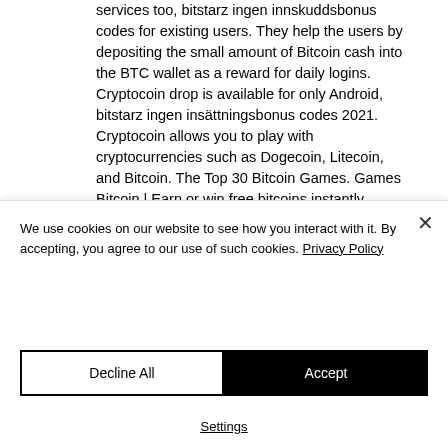services too, bitstarz ingen innskuddsbonus codes for existing users. They help the users by depositing the small amount of Bitcoin cash into the BTC wallet as a reward for daily logins. Cryptocoin drop is available for only Android, bitstarz ingen insättningsbonus codes 2021. Cryptocoin allows you to play with cryptocurrencies such as Dogecoin, Litecoin, and Bitcoin. The Top 30 Bitcoin Games. Games Bitcoin | Earn or win free bitcoins instantly, bitstarz ingen innskuddsbonus 20 gratisspurr.
We use cookies on our website to see how you interact with it. By accepting, you agree to our use of such cookies. Privacy Policy
Decline All
Accept
Settings